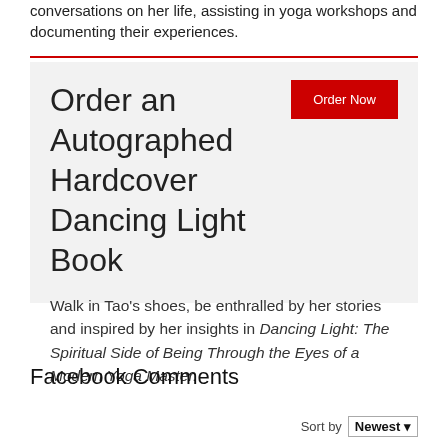conversations on her life, assisting in yoga workshops and documenting their experiences.
Order an Autographed Hardcover Dancing Light Book
Walk in Tao's shoes, be enthralled by her stories and inspired by her insights in Dancing Light: The Spiritual Side of Being Through the Eyes of a Modern Yoga Master.
Facebook Comments